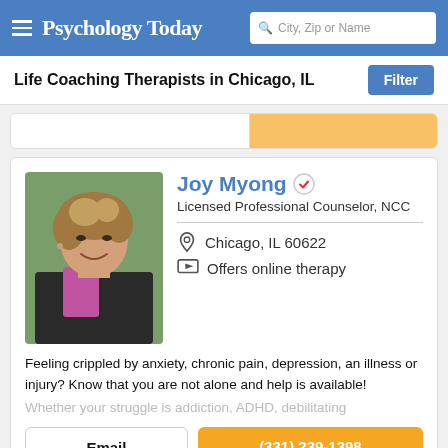Psychology Today — City, Zip or Name search
Life Coaching Therapists in Chicago, IL
Joy Myong — Licensed Professional Counselor, NCC — Chicago, IL 60622 — Offers online therapy
Feeling crippled by anxiety, chronic pain, depression, an illness or injury? Know that you are not alone and help is available! Whether your struggle is addiction, ADHD, debilitating
Email
(331) 239-1398